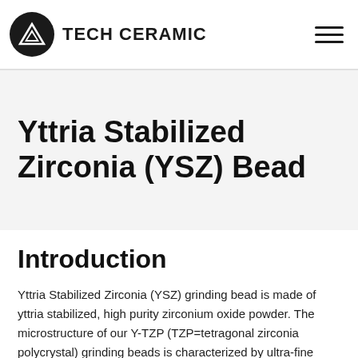TECH CERAMIC
Yttria Stabilized Zirconia (YSZ) Bead
Introduction
Yttria Stabilized Zirconia (YSZ) grinding bead is made of yttria stabilized, high purity zirconium oxide powder. The microstructure of our Y-TZP (TZP=tetragonal zirconia polycrystal) grinding beads is characterized by ultra-fine